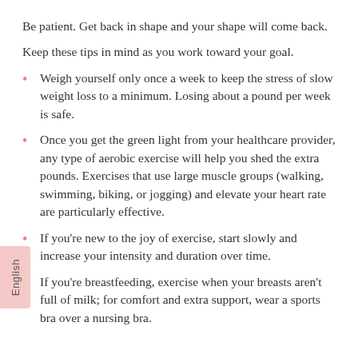Be patient. Get back in shape and your shape will come back.
Keep these tips in mind as you work toward your goal.
Weigh yourself only once a week to keep the stress of slow weight loss to a minimum. Losing about a pound per week is safe.
Once you get the green light from your healthcare provider, any type of aerobic exercise will help you shed the extra pounds. Exercises that use large muscle groups (walking, swimming, biking, or jogging) and elevate your heart rate are particularly effective.
If you're new to the joy of exercise, start slowly and increase your intensity and duration over time.
If you're breastfeeding, exercise when your breasts aren't full of milk; for comfort and extra support, wear a sports bra over a nursing bra.